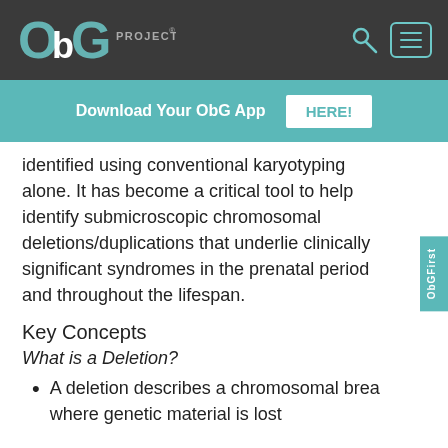ObG PROJECT®
Download Your ObG App HERE!
identified using conventional karyotyping alone. It has become a critical tool to help identify submicroscopic chromosomal deletions/duplications that underlie clinically significant syndromes in the prenatal period and throughout the lifespan.
Key Concepts
What is a Deletion?
A deletion describes a chromosomal break where genetic material is lost